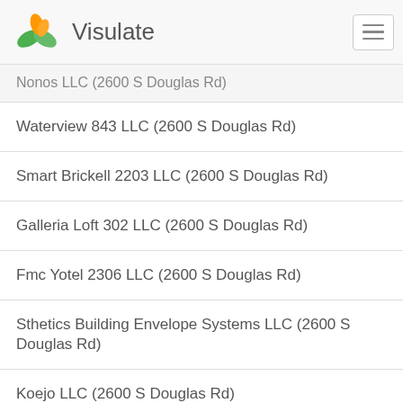Visulate
Nonos LLC (2600 S Douglas Rd)
Waterview 843 LLC (2600 S Douglas Rd)
Smart Brickell 2203 LLC (2600 S Douglas Rd)
Galleria Loft 302 LLC (2600 S Douglas Rd)
Fmc Yotel 2306 LLC (2600 S Douglas Rd)
Sthetics Building Envelope Systems LLC (2600 S Douglas Rd)
Koejo LLC (2600 S Douglas Rd)
June Event LLC (2600 S Douglas Rd)
Brickell Flatiron 2702 LLC (2600 S Douglas Rd)
Brickell Flatiron 3210 LLC (2600 S Douglas Rd)